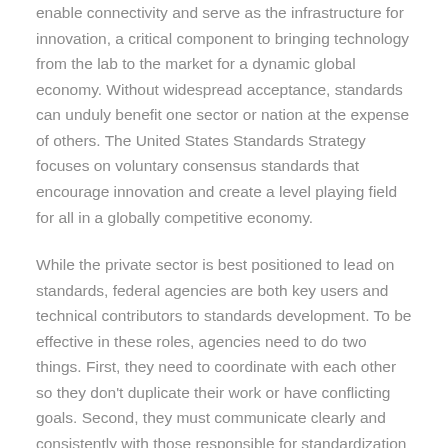enable connectivity and serve as the infrastructure for innovation, a critical component to bringing technology from the lab to the market for a dynamic global economy. Without widespread acceptance, standards can unduly benefit one sector or nation at the expense of others. The United States Standards Strategy focuses on voluntary consensus standards that encourage innovation and create a level playing field for all in a globally competitive economy.
While the private sector is best positioned to lead on standards, federal agencies are both key users and technical contributors to standards development. To be effective in these roles, agencies need to do two things. First, they need to coordinate with each other so they don't duplicate their work or have conflicting goals. Second, they must communicate clearly and consistently with those responsible for standardization in the private sector. The ACTWG and its report focus directly on these two goals.
The first part of the report provides an overview and identifies priority areas for strategic standards, including the Internet of Things, security and privacy for communications, quality assurance for communications with critical